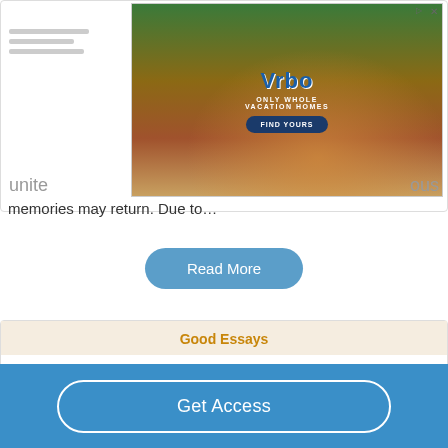[Figure (screenshot): Vrbo advertisement banner showing vacation home with text 'ONLY WHOLE VACATION HOMES' and 'FIND YOURS' button]
unite... ous
memories may return. Due to…
Read More
Good Essays
Paula And Lamar: A Literary Analysis
578 Words
3 Pages
Get Access